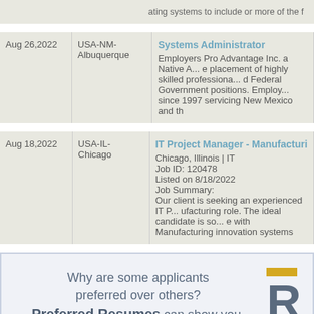| Date | Location | Job Listing |
| --- | --- | --- |
|  |  | ating systems to include or more of the f... |
| Aug 26,2022 | USA-NM-Albuquerque | Systems Administrator
Employers Pro Advantage Inc. a Native A... e placement of highly skilled professiona... d Federal Government positions. Employ... since 1997 servicing New Mexico and th... |
| Aug 18,2022 | USA-IL-Chicago | IT Project Manager - Manufacturi...
Chicago, Illinois | IT
Job ID: 120478
Listed on 8/18/2022
Job Summary:
Our client is seeking an experienced IT P... ufacturing role. The ideal candidate is so... e with Manufacturing innovation systems... |
Why are some applicants preferred over others? Preferred Resumes can show you.